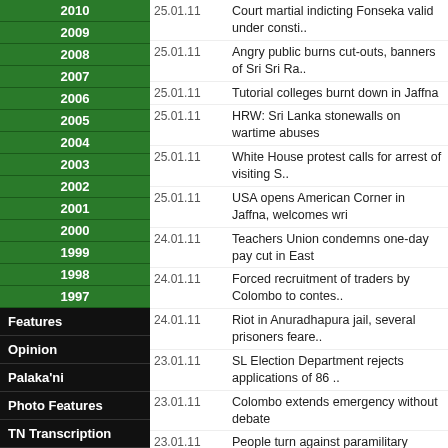2010
2009
2008
2007
2006
2005
2004
2003
2002
2001
2000
1999
1998
1997
Features
Opinion
Palaka'ni
Photo Features
TN Transcription
Web feeds
Feedback
Home
About us
25.01.11 - Court martial indicting Fonseka valid under consti..
25.01.11 - Angry public burns cut-outs, banners of Sri Sri Ra..
25.01.11 - Tutorial colleges burnt down in Jaffna
25.01.11 - HRW: Sri Lanka stonewalls on wartime abuses
25.01.11 - White House protest calls for arrest of visiting S..
25.01.11 - USA opens American Corner in Jaffna, welcomes wri
24.01.11 - Teachers Union condemns one-day pay cut in East
24.01.11 - Forced recruitment of traders by Colombo to contes..
24.01.11 - Riot in Anuradhapura jail, several prisoners feare..
23.01.11 - SL Election Department rejects applications of 86 ..
23.01.11 - Colombo extends emergency without debate
23.01.11 - People turn against paramilitary groups in Battica..
23.01.11 - War-crime past to scuttle Sri Lankan envoy's Austr..
23.01.11 - TAG to file civil case against Rajapakse in Texas ..
22.01.11 - Sri Lanka's commission to conclude "sittings"
22.01.11 - Militarization of policing announced in Jaffna
22.01.11 - Boy reported missing in Ki'linochchi
21.01.11 - SLN blamed for murder of female teacher
21.01.11 - Nobel winner pulls out of Sri Lanka book fair
20.01.11 - Amitabh Bachchan hurt by IIFA awards in Sri Lanka:..
20.01.11 - SL military, southern traders, encourage child lab..
20.01.11 - Dead body of young woman found near Pungkuduthe
20.01.11 - Congressman renews call for international investig..
20.01.11 - Admitting Rajapakse into US criminally similar to ..
19.01.11 - Chomsky, Arundhati, lead protest to writers meet i..
19.01.11 - Amnesty: US should investigate Rajapaksa during hi..
19.01.11 - Rajapaksa leaves to USA after meeting Armitage